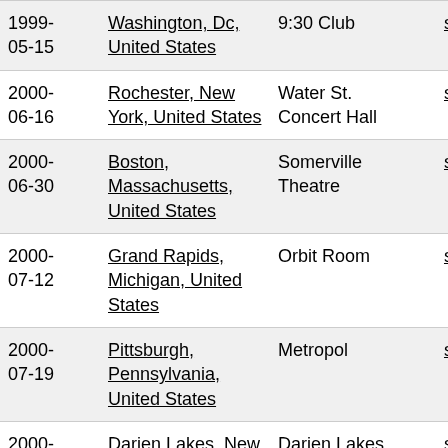| Date | Location | Venue |  |
| --- | --- | --- | --- |
| 1999-05-15 | Washington, Dc, United States | 9:30 Club | setlist |
| 2000-06-16 | Rochester, New York, United States | Water St. Concert Hall | setlist |
| 2000-06-30 | Boston, Massachusetts, United States | Somerville Theatre | setlist |
| 2000-07-12 | Grand Rapids, Michigan, United States | Orbit Room | setlist |
| 2000-07-19 | Pittsburgh, Pennsylvania, United States | Metropol | setlist |
| 2000-07-29 | Darien Lakes, New York, United States | Darien Lakes Performing Arts Center | setlist |
| 2000-10-02 | Rochester, New York, United States | Auditorium Theatre | setlist |